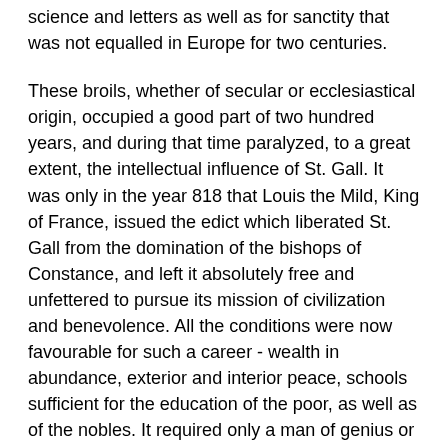science and letters as well as for sanctity that was not equalled in Europe for two centuries.
These broils, whether of secular or ecclesiastical origin, occupied a good part of two hundred years, and during that time paralyzed, to a great extent, the intellectual influence of St. Gall. It was only in the year 818 that Louis the Mild, King of France, issued the edict which liberated St. Gall from the domination of the bishops of Constance, and left it absolutely free and unfettered to pursue its mission of civilization and benevolence. All the conditions were now favourable for such a career - wealth in abundance, exterior and interior peace, schools sufficient for the education of the poor, as well as of the nobles. It required only a man of genius or at least a man of good education and commanding talents to give a new impulse to the arts and sciences, in order to bring the influence of the establishment to maturity. This man appeared in due time in the person of Moengal or Marcellus, an Irish monk, who is regarded as the real founder of the school of St. Gall.
Moengal accompanied to Rome his uncle, named Marcus,